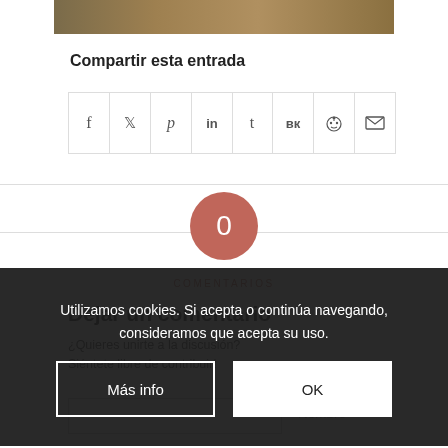[Figure (photo): Partial photo strip at top showing rocky/earthy terrain]
Compartir esta entrada
[Figure (infographic): Social sharing icons bar with Facebook, Twitter, Pinterest, LinkedIn, Tumblr, VK, Reddit, Email icons]
0
COMENTARIOS
Utilizamos cookies. Si acepta o continúa navegando, consideramos que acepta su uso.
Más info
OK
Dejar un comentario
¿Quieres unirte a la discusión? Siéntete libre de contribuir!
Nombre *